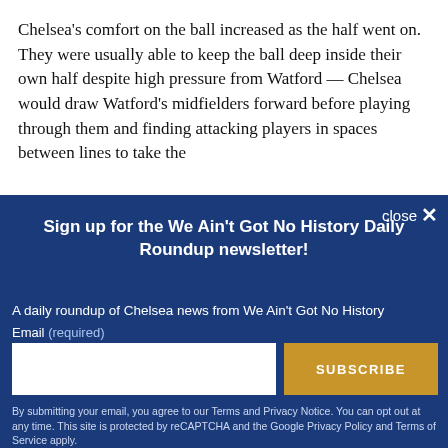Chelsea's comfort on the ball increased as the half went on. They were usually able to keep the ball deep inside their own half despite high pressure from Watford — Chelsea would draw Watford's midfielders forward before playing through them and finding attacking players in spaces between lines to take the
close ✕
Sign up for the We Ain't Got No History Daily Roundup newsletter!
A daily roundup of Chelsea news from We Ain't Got No History
Email (required)
SUBSCRIBE
By submitting your email, you agree to our Terms and Privacy Notice. You can opt out at any time. This site is protected by reCAPTCHA and the Google Privacy Policy and Terms of Service apply.